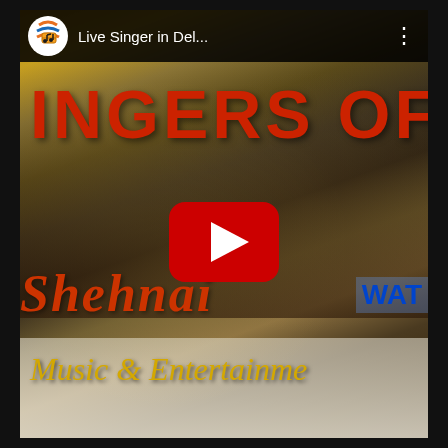[Figure (screenshot): YouTube video thumbnail screenshot showing a YouTube video player interface. The video features a female singer in a yellow outfit performing at what appears to be a formal event, seated with a microphone stand in front of her. Other musicians are visible including a tabla player. Overlaid text reads 'INGERS OF' in large red letters at top, 'shehnai' in orange-red script in lower portion, 'WAT' in blue, and 'Music & Entertainment' in gold italic script at bottom. The top bar shows a YouTube channel logo, the channel name 'Live Singer in Del...' and a three-dot menu. A large YouTube play button (red circle with white triangle) is centered on the image.]